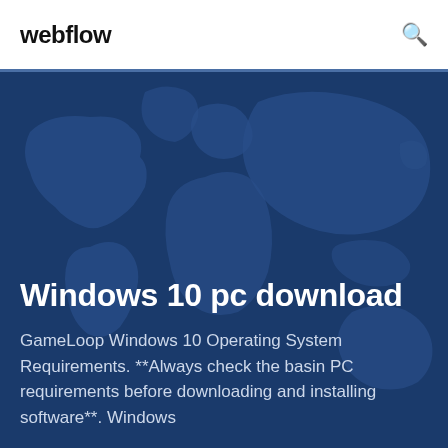webflow
[Figure (illustration): World map silhouette on dark navy blue background used as hero image]
Windows 10 pc download
GameLoop Windows 10 Operating System Requirements. **Always check the basin PC requirements before downloading and installing software**. Windows